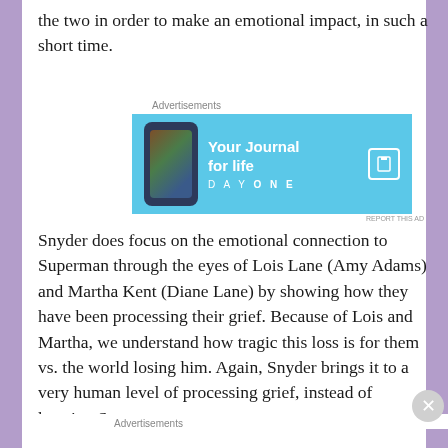the two in order to make an emotional impact, in such a short time.
[Figure (other): Advertisement banner: 'Your Journal for life' DayOne app ad with blue background and phone image]
Snyder does focus on the emotional connection to Superman through the eyes of Lois Lane (Amy Adams) and Martha Kent (Diane Lane) by showing how they have been processing their grief. Because of Lois and Martha, we understand how tragic this loss is for them vs. the world losing him. Again, Snyder brings it to a very human level of processing grief, instead of keeping Superman as a
Advertisements